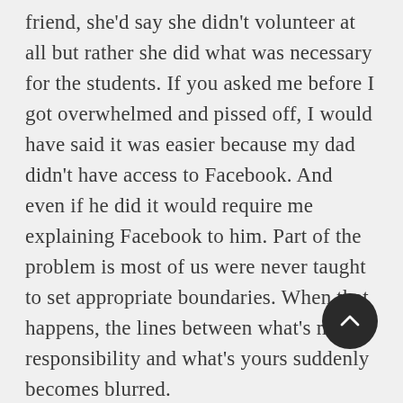friend, she'd say she didn't volunteer at all but rather she did what was necessary for the students. If you asked me before I got overwhelmed and pissed off, I would have said it was easier because my dad didn't have access to Facebook. And even if he did it would require me explaining Facebook to him. Part of the problem is most of us were never taught to set appropriate boundaries. When that happens, the lines between what's my responsibility and what's yours suddenly becomes blurred.
And what's the cost of all this? Fo it means more things to do that distract you from your own goals and objectives. All those things drain your energy so you can't apply it where you